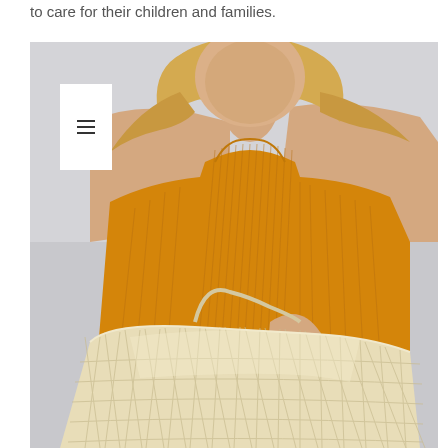to care for their children and families.
[Figure (photo): A blonde woman wearing an orange/mustard sleeveless ribbed top, holding a large woven straw basket bag. Photo taken against a light grey background. The image is cropped at the shoulders upward and below the knees, with a white overlay panel in the upper-left corner containing a hamburger menu icon.]